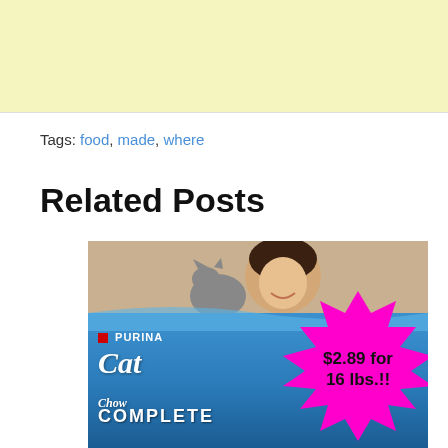[Figure (other): Yellow/cream colored advertisement banner at the top of the page]
Tags: food, made, where
Related Posts
[Figure (photo): Purina Cat Chow Complete cat food bag showing a woman smiling at her cat, with a bright pink starburst graphic overlay showing '$2.89 for 16 lbs.!!']